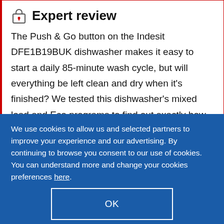Expert review
The Push & Go button on the Indesit DFE1B19BUK dishwasher makes it easy to start a daily 85-minute wash cycle, but will everything be left clean and dry when it’s finished? We tested this dishwasher’s mixed load and Eco programs to find out exactly how well it works, so read the full review to see whether we’d
We use cookies to allow us and selected partners to improve your experience and our advertising. By continuing to browse you consent to our use of cookies. You can understand more and change your cookies preferences here.